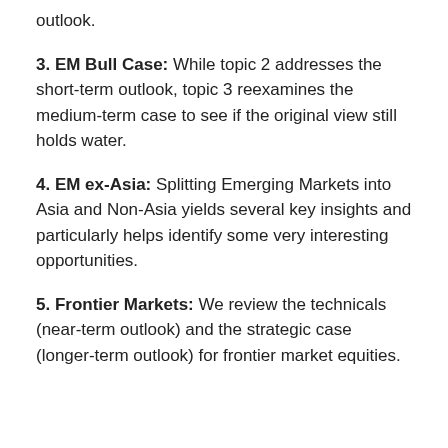outlook.
3. EM Bull Case: While topic 2 addresses the short-term outlook, topic 3 reexamines the medium-term case to see if the original view still holds water.
4. EM ex-Asia: Splitting Emerging Markets into Asia and Non-Asia yields several key insights and particularly helps identify some very interesting opportunities.
5. Frontier Markets: We review the technicals (near-term outlook) and the strategic case (longer-term outlook) for frontier market equities.